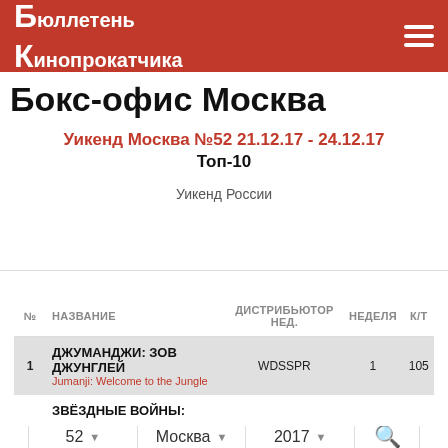Бюллетень Кинопрокатчика
Бокс-офис Москва
Уикенд Москва №52 21.12.17 - 24.12.17 Топ-10
Уикенд России
| № | НАЗВАНИЕ | ДИСТРИБЬЮТОР НЕД. | НЕДЕЛЯ | К/Т |
| --- | --- | --- | --- | --- |
| 1 | ДЖУМАНДЖИ: ЗОВ ДЖУНГЛЕЙ / Jumanji: Welcome to the Jungle | WDSSPR | 1 | 105 |
|  | ЗВЁЗДНЫЕ ВОЙНЫ: |  |  |  |